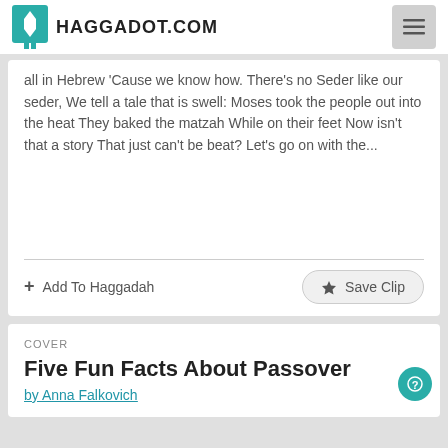HAGGADOT.COM
all in Hebrew 'Cause we know how. There's no Seder like our seder, We tell a tale that is swell: Moses took the people out into the heat They baked the matzah While on their feet Now isn't that a story That just can't be beat? Let's go on with the...
+ Add To Haggadah
★ Save Clip
COVER
Five Fun Facts About Passover
by Anna Falkovich